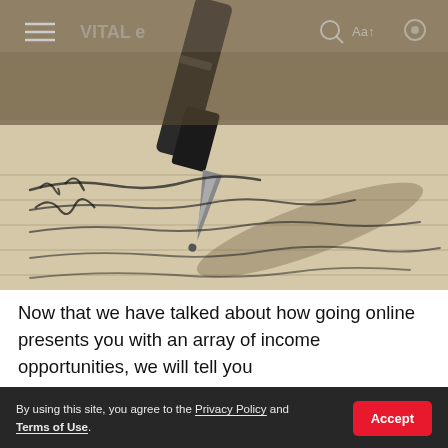[Figure (photo): Close-up photograph of a fountain pen nib writing cursive script on lined paper. The metallic pen tip is in sharp focus with handwritten text visible on the lined paper below.]
Now that we have talked about how going online presents you with an array of income opportunities, we will tell you
Here is what you need to know in short — Working Online
By using this site, you agree to the Privacy Policy and Terms of Use.